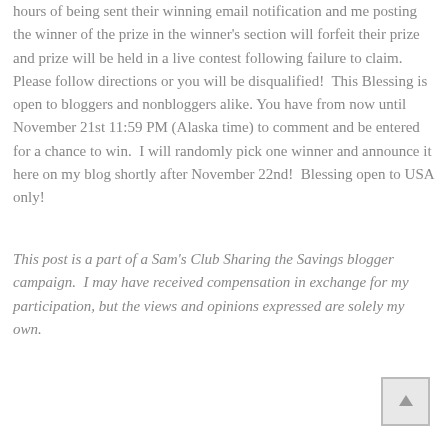hours of being sent their winning email notification and me posting the winner of the prize in the winner's section will forfeit their prize and prize will be held in a live contest following failure to claim.  Please follow directions or you will be disqualified!  This Blessing is open to bloggers and nonbloggers alike. You have from now until November 21st 11:59 PM (Alaska time) to comment and be entered for a chance to win.  I will randomly pick one winner and announce it here on my blog shortly after November 22nd!  Blessing open to USA only!
This post is a part of a Sam's Club Sharing the Savings blogger campaign.  I may have received compensation in exchange for my participation, but the views and opinions expressed are solely my own.